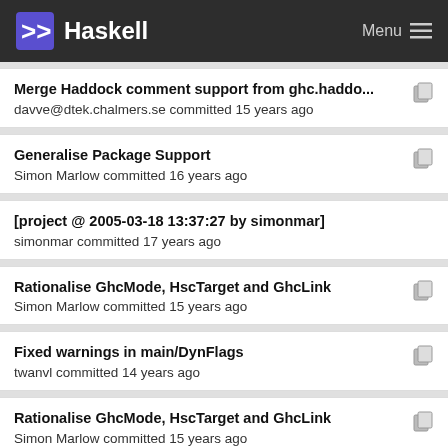Haskell | Menu
Merge Haddock comment support from ghc.haddo...
davve@dtek.chalmers.se committed 15 years ago
Generalise Package Support
Simon Marlow committed 16 years ago
[project @ 2005-03-18 13:37:27 by simonmar]
simonmar committed 17 years ago
Rationalise GhcMode, HscTarget and GhcLink
Simon Marlow committed 15 years ago
Fixed warnings in main/DynFlags
twanvl committed 14 years ago
Rationalise GhcMode, HscTarget and GhcLink
Simon Marlow committed 15 years ago
Whitespace only in DynFlags
Ian Lynagh committed 14 years ago